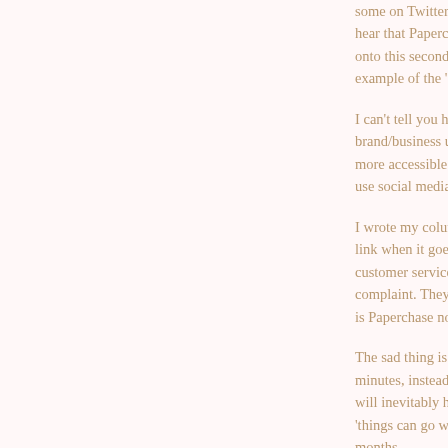some on Twitter's role in this hear that Paperchase has a) as onto this second designer and example of the 'evils' of social
I can't tell you how frustrating brand/business use of the onli more accessible. To educate a use social media and the like p
I wrote my column on Friday link when it goes out tomorro customer service. It's the basic complaint. They did it badly, a is Paperchase not just holding
The sad thing is that it all cou minutes, instead of it blowing will inevitably have rammed c 'things can go wrong' at vario months.
Well done for getting that apo guns.
VC